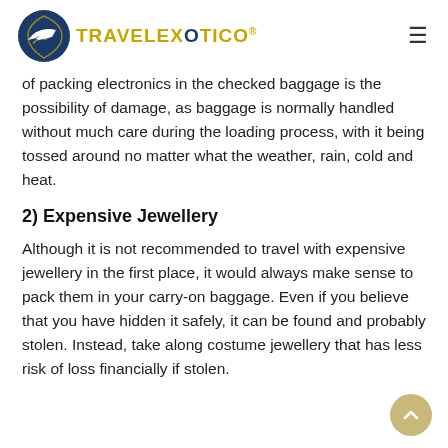TRAVELEXOTICO®
of packing electronics in the checked baggage is the possibility of damage, as baggage is normally handled without much care during the loading process, with it being tossed around no matter what the weather, rain, cold and heat.
2) Expensive Jewellery
Although it is not recommended to travel with expensive jewellery in the first place, it would always make sense to pack them in your carry-on baggage. Even if you believe that you have hidden it safely, it can be found and probably stolen. Instead, take along costume jewellery that has less risk of loss financially if stolen.